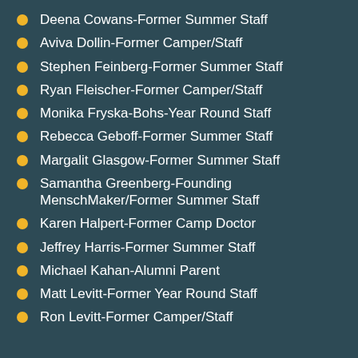Deena Cowans-Former Summer Staff
Aviva Dollin-Former Camper/Staff
Stephen Feinberg-Former Summer Staff
Ryan Fleischer-Former Camper/Staff
Monika Fryska-Bohs-Year Round Staff
Rebecca Geboff-Former Summer Staff
Margalit Glasgow-Former Summer Staff
Samantha Greenberg-Founding MenschMaker/Former Summer Staff
Karen Halpert-Former Camp Doctor
Jeffrey Harris-Former Summer Staff
Michael Kahan-Alumni Parent
Matt Levitt-Former Year Round Staff
Ron Levitt-Former Camper/Staff